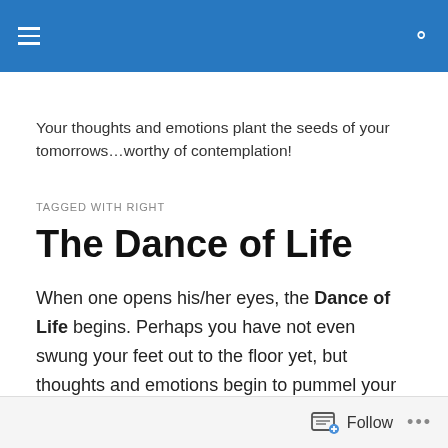[Navigation bar with hamburger menu and search icon]
Your thoughts and emotions plant the seeds of your tomorrows…worthy of contemplation!
TAGGED WITH RIGHT
The Dance of Life
When one opens his/her eyes, the Dance of Life begins. Perhaps you have not even swung your feet out to the floor yet, but thoughts and emotions begin to pummel your consciousness — things to do, priorities, fears, worries, etc
Follow  •••